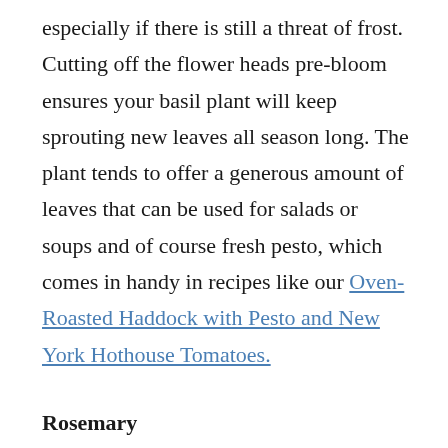especially if there is still a threat of frost. Cutting off the flower heads pre-bloom ensures your basil plant will keep sprouting new leaves all season long. The plant tends to offer a generous amount of leaves that can be used for salads or soups and of course fresh pesto, which comes in handy in recipes like our Oven-Roasted Haddock with Pesto and New York Hothouse Tomatoes.
Rosemary
It is best to start the plant indoors and bring it outside when the threats of frost are gone. This